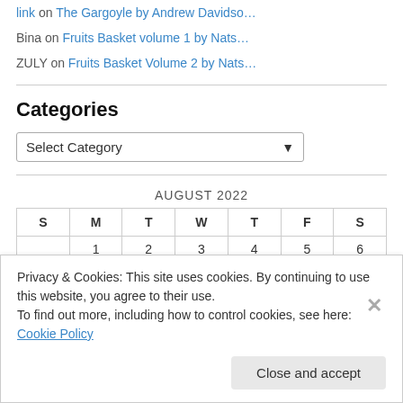link on The Gargoyle by Andrew Davidso…
Bina on Fruits Basket volume 1 by Nats…
ZULY on Fruits Basket Volume 2 by Nats…
Categories
Select Category
| S | M | T | W | T | F | S |
| --- | --- | --- | --- | --- | --- | --- |
| 1 | 2 | 3 | 4 | 5 | 6 |
AUGUST 2022
Privacy & Cookies: This site uses cookies. By continuing to use this website, you agree to their use.
To find out more, including how to control cookies, see here: Cookie Policy
Close and accept